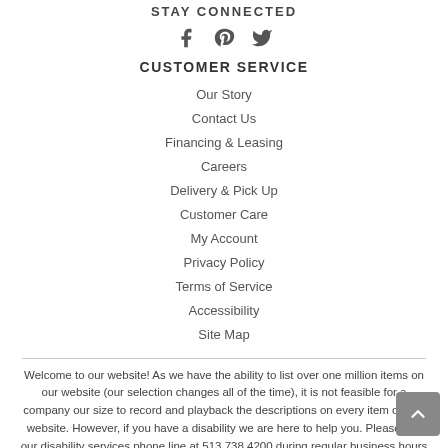STAY CONNECTED
[Figure (illustration): Social media icons: Facebook, Pinterest, Twitter]
CUSTOMER SERVICE
Our Story
Contact Us
Financing & Leasing
Careers
Delivery & Pick Up
Customer Care
My Account
Privacy Policy
Terms of Service
Accessibility
Site Map
Welcome to our website! As we have the ability to list over one million items on our website (our selection changes all of the time), it is not feasible for a company our size to record and playback the descriptions on every item on our website. However, if you have a disability we are here to help you. Please call our disability services phone line at 513.738.4200 during regular business hours and one of our kind and friendly personal shoppers will help you navigate through our website, help conduct advanced searches, help you choose the item you are looking for with the specifications you are